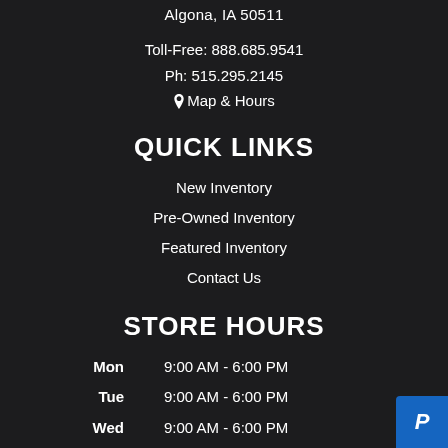Algona, IA 50511
Toll-Free: 888.685.9541
Ph: 515.295.2145
📍 Map & Hours
QUICK LINKS
New Inventory
Pre-Owned Inventory
Featured Inventory
Contact Us
STORE HOURS
| Day | Hours |
| --- | --- |
| Mon | 9:00 AM - 6:00 PM |
| Tue | 9:00 AM - 6:00 PM |
| Wed | 9:00 AM - 6:00 PM |
| Thu | 9:00 AM - 6:00 PM |
| Fri | 9:00 AM - 6:00 PM |
| Sat | 9:00 AM - 1:00 PM |
| Sun | Closed |